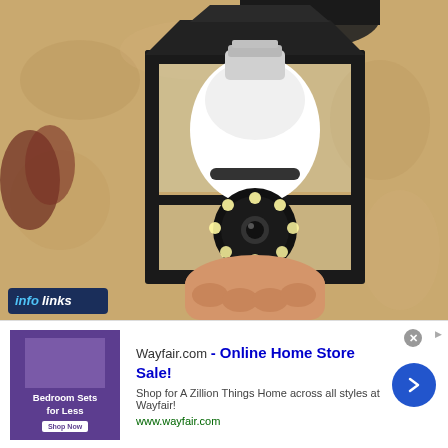[Figure (photo): A hand installing a white security camera bulb into an outdoor black metal lantern light fixture mounted on a stucco wall.]
infolinks
[Figure (screenshot): Wayfair advertisement banner showing bedroom furniture image with text: Wayfair.com - Online Home Store Sale! Shop for A Zillion Things Home across all styles at Wayfair! www.wayfair.com]
Wayfair.com - Online Home Store Sale!
Shop for A Zillion Things Home across all styles at Wayfair!
www.wayfair.com